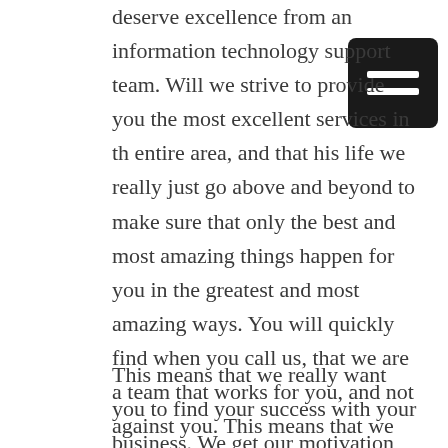deserve excellence from an information technology support team. Will we strive to provide you the most excellent services in the entire area, and that his life we really just go above and beyond to make sure that only the best and most amazing things happen for you in the greatest and most amazing ways. You will quickly find when you call us, that we are a team that works for you, and not against you. This means that we worked to provide you with the best and most reliable services in the most affordable ways.
[Figure (other): Hamburger menu icon — black rounded rectangle with two white horizontal bars]
This means that we really want you to find your success with your business. We get our motivation from seeing companies like you and